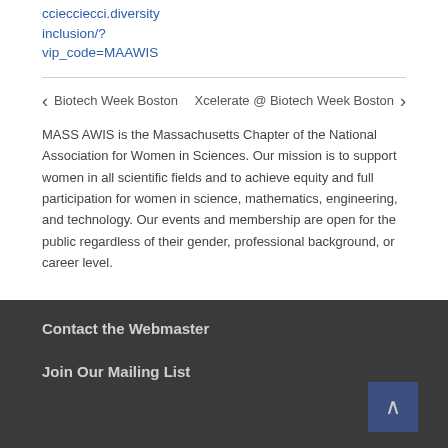cciecciecci.diversity inclusion/? vip_code=MAAWIS
< Biotech Week Boston    Xcelerate @ Biotech Week Boston >
MASS AWIS is the Massachusetts Chapter of the National Association for Women in Sciences. Our mission is to support women in all scientific fields and to achieve equity and full participation for women in science, mathematics, engineering, and technology. Our events and membership are open for the public regardless of their gender, professional background, or career level.
Contact the Webmaster
Join Our Mailing List